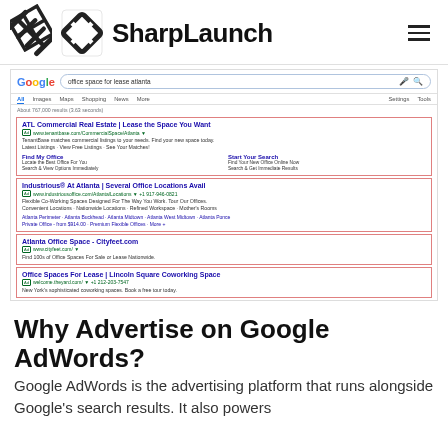SharpLaunch
[Figure (screenshot): Google search results page for 'office space for lease atlanta' showing four paid ad listings in red-bordered boxes: ATL Commercial Real Estate, Industrious® At Atlanta, Atlanta Office Space - Cityfeet.com, and Office Spaces For Lease | Lincoln Square Coworking Space]
Why Advertise on Google AdWords?
Google AdWords is the advertising platform that runs alongside Google's search results. It also powers